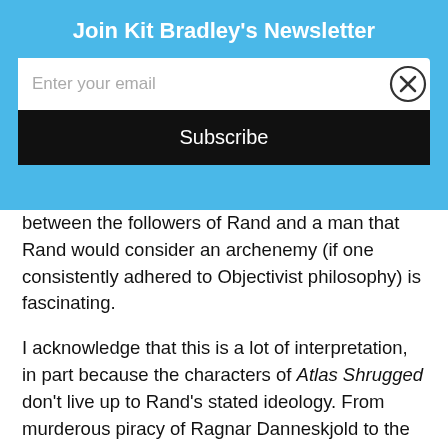Join Kit Bradley's Newsletter
Enter your email
Subscribe
between the followers of Rand and a man that Rand would consider an archenemy (if one consistently adhered to Objectivist philosophy) is fascinating.
I acknowledge that this is a lot of interpretation, in part because the characters of Atlas Shrugged don't live up to Rand's stated ideology. From murderous piracy of Ragnar Danneskjold to the intellectual property theft of Dagny Taggart and Hank Rearden to innumerable breaches of contract (which are supposed to be the bedrock of Objectivist law and order), the characters of Atlas Shrugged don't live Rand's ideology. So, given the immense failure of the cast of Atlas Shrugged to live up to Objectivism, Trump is very much like a Randian hero as written.